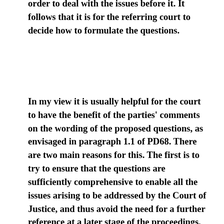order to deal with the issues before it. It follows that it is for the referring court to decide how to formulate the questions.
In my view it is usually helpful for the court to have the benefit of the parties' comments on the wording of the proposed questions, as envisaged in paragraph 1.1 of PD68. There are two main reasons for this. The first is to try to ensure that the questions are sufficiently comprehensive to enable all the issues arising to be addressed by the Court of Justice, and thus avoid the need for a further reference at a later stage of the proceedings, as occurred in the Boehringer Ingelheim v Swingward litigation. In that case Laddie J referred